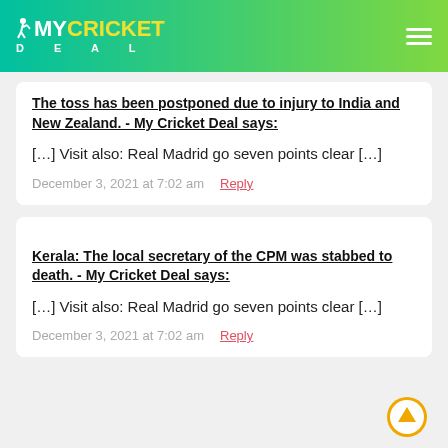MyCricket Deal
The toss has been postponed due to injury to India and New Zealand. - My Cricket Deal says:
[…] Visit also: Real Madrid go seven points clear […]
December 3, 2021 at 7:02 am   Reply
Kerala: The local secretary of the CPM was stabbed to death. - My Cricket Deal says:
[…] Visit also: Real Madrid go seven points clear […]
December 3, 2021 at 7:02 am   Reply